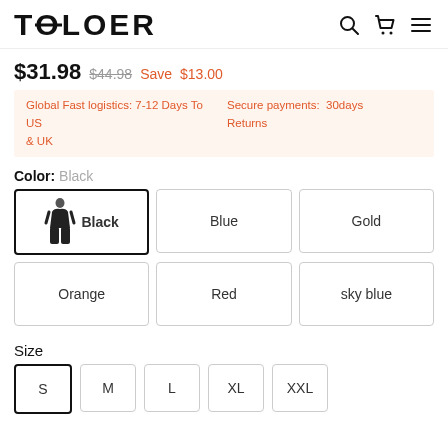TOLOER
$31.98  $44.98  Save  $13.00
Global Fast logistics: 7-12 Days To US & UK  |  Secure payments: 30days Returns
Color: Black
Black  Blue  Gold  Orange  Red  sky blue
Size
S  M  L  XL  XXL